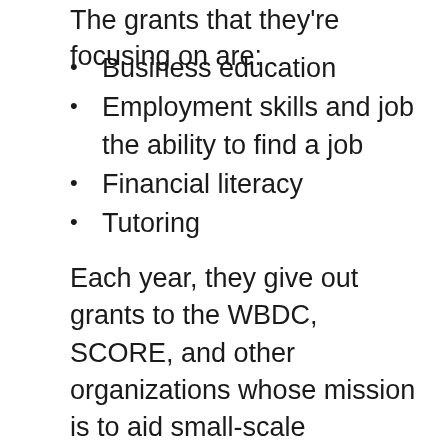The grants that they're focusing on are:
Business education
Employment skills and job the ability to find a job
Financial literacy
Tutoring
Each year, they give out grants to the WBDC, SCORE, and other organizations whose mission is to aid small-scale enterprises in their growth. Deluxe matches donations from employees to give more opportunities to businesses to contribute to charitable causes. They have something for everyone from small to medium-sized companies to large companies to make an impact in the lives of others.